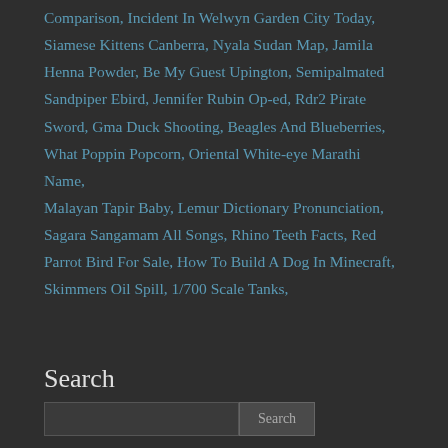Comparison, Incident In Welwyn Garden City Today, Siamese Kittens Canberra, Nyala Sudan Map, Jamila Henna Powder, Be My Guest Upington, Semipalmated Sandpiper Ebird, Jennifer Rubin Op-ed, Rdr2 Pirate Sword, Gma Duck Shooting, Beagles And Blueberries, What Poppin Popcorn, Oriental White-eye Marathi Name, Malayan Tapir Baby, Lemur Dictionary Pronunciation, Sagara Sangamam All Songs, Rhino Teeth Facts, Red Parrot Bird For Sale, How To Build A Dog In Minecraft, Skimmers Oil Spill, 1/700 Scale Tanks,
Search